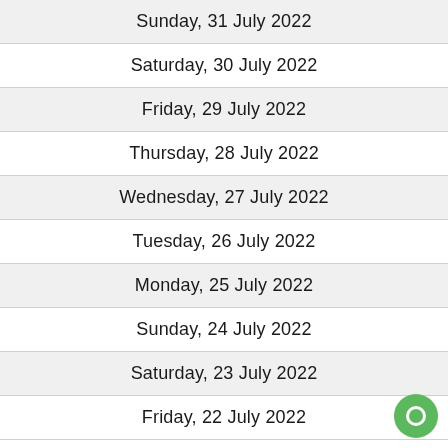Sunday, 31 July 2022
Saturday, 30 July 2022
Friday, 29 July 2022
Thursday, 28 July 2022
Wednesday, 27 July 2022
Tuesday, 26 July 2022
Monday, 25 July 2022
Sunday, 24 July 2022
Saturday, 23 July 2022
Friday, 22 July 2022